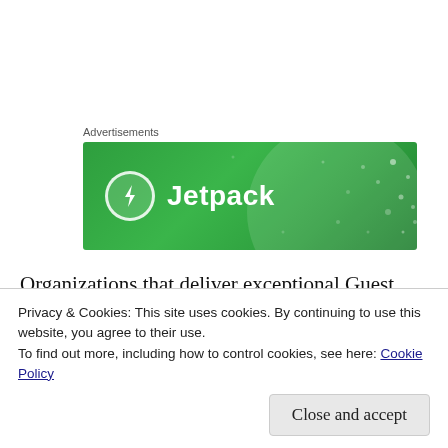Advertisements
[Figure (logo): Jetpack advertisement banner - green background with Jetpack logo (lightning bolt icon in circle) and text 'Jetpack']
Organizations that deliver exceptional Guest Experiences understand the fundamental concept that everything the organization does should focus on the Guest. These organizations lead from the outside in by starting with the Guests
Privacy & Cookies: This site uses cookies. By continuing to use this website, you agree to their use.
To find out more, including how to control cookies, see here: Cookie Policy
Close and accept